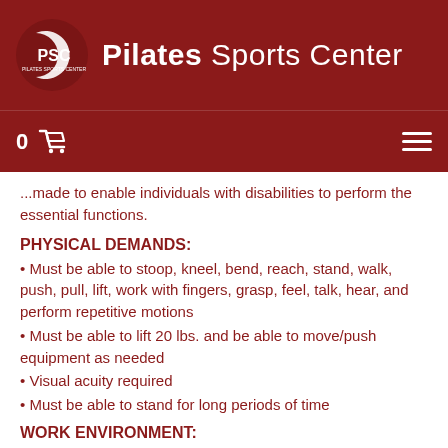[Figure (logo): PSC Pilates Sports Center logo with red background, white crescent arc and PSC text]
Pilates Sports Center
made to enable individuals with disabilities to perform the essential functions.
PHYSICAL DEMANDS:
Must be able to stoop, kneel, bend, reach, stand, walk, push, pull, lift, work with fingers, grasp, feel, talk, hear, and perform repetitive motions
Must be able to lift 20 lbs. and be able to move/push equipment as needed
Visual acuity required
Must be able to stand for long periods of time
WORK ENVIRONMENT: